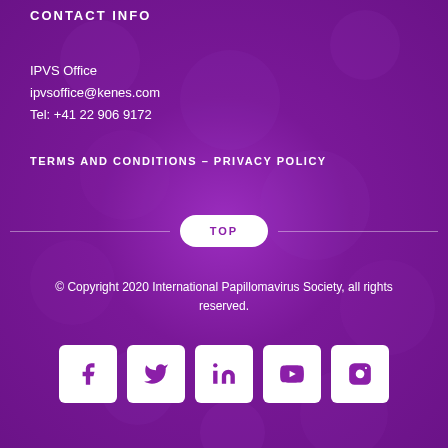CONTACT INFO
IPVS Office
ipvsoffice@kenes.com
Tel: +41 22 906 9172
TERMS AND CONDITIONS - PRIVACY POLICY
TOP
© Copyright 2020 International Papillomavirus Society, all rights reserved.
[Figure (other): Social media icon buttons: Facebook, Twitter, LinkedIn, YouTube, Instagram]